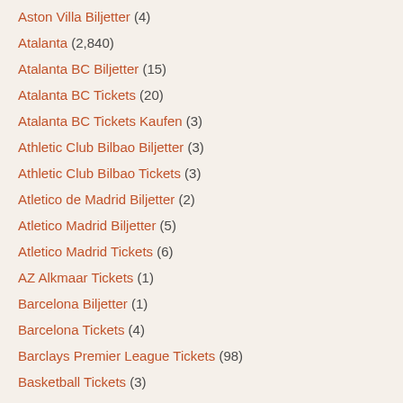Aston Villa Biljetter (4)
Atalanta (2,840)
Atalanta BC Biljetter (15)
Atalanta BC Tickets (20)
Atalanta BC Tickets Kaufen (3)
Athletic Club Bilbao Biljetter (3)
Athletic Club Bilbao Tickets (3)
Atletico de Madrid Biljetter (2)
Atletico Madrid Biljetter (5)
Atletico Madrid Tickets (6)
AZ Alkmaar Tickets (1)
Barcelona Biljetter (1)
Barcelona Tickets (4)
Barclays Premier League Tickets (98)
Basketball Tickets (3)